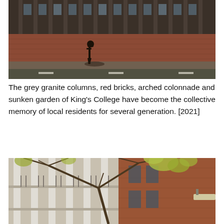[Figure (photo): Street-level photo of King's College building exterior: red brick wall with grey granite columns visible above, a person walking on the pavement in front, viewed from across the road.]
The grey granite columns, red bricks, arched colonnade and sunken garden of King's College have become the collective memory of local residents for several generation. [2021]
[Figure (photo): Close-up photo of King's College building facade showing white/grey columns, red brick walls, balcony railings, and bare tree branches with some yellow-green leaves in the foreground.]